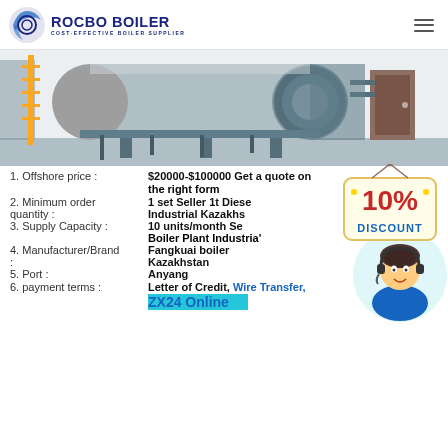ROCBO BOILER - COST-EFFECTIVE BOILER SUPPLIER
[Figure (photo): Industrial boiler equipment in a factory facility, showing large cylindrical boiler tanks with blue casing and yellow support structures]
1. Offshore price : $20000-$100000 Get a quote on the right form
2. Minimum order quantity : 1 set Seller 1t Diesel Industrial Kazakhstan
3. Supply Capacity : 10 units/month Seller 1t Diesel Boiler Plant Industrial
4. Manufacturer/Brand : Fangkuai boiler Kazakhstan
5. Port : Anyang
6. payment terms : Letter of Credit, Wire Transfer, ZX24 Online